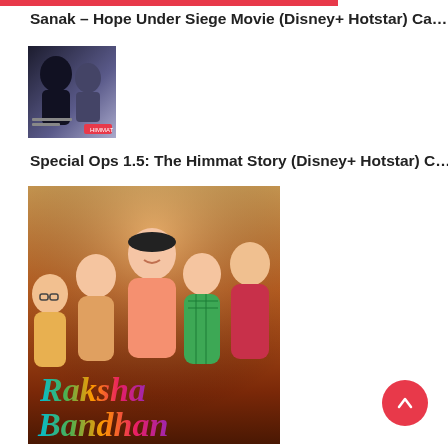Sanak – Hope Under Siege Movie (Disney+ Hotstar) Ca…
[Figure (photo): Movie poster thumbnail for Sanak – Hope Under Siege, dark monochrome with silhouettes of two faces]
Special Ops 1.5: The Himmat Story (Disney+ Hotstar) C…
[Figure (photo): Movie poster for Raksha Bandhan featuring a man and four women hugging and smiling, with colorful Raksha Bandhan logo/title text at bottom]